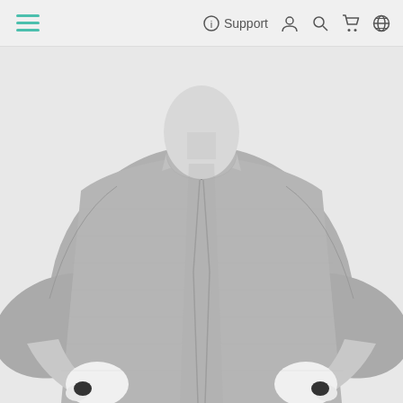Navigation bar with hamburger menu, Support link, user, search, cart, and globe icons
[Figure (photo): Black and white product photo of a mannequin torso wearing a grey fleece quarter-zip pullover sweatshirt. The mannequin has white hands positioned at the front of the garment. The sweatshirt has a mock neck collar with a short front zipper.]